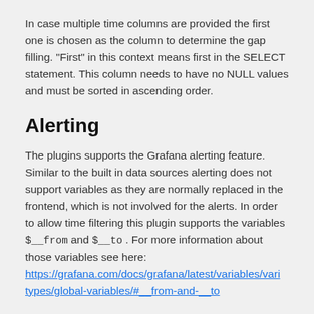In case multiple time columns are provided the first one is chosen as the column to determine the gap filling. "First" in this context means first in the SELECT statement. This column needs to have no NULL values and must be sorted in ascending order.
Alerting
The plugins supports the Grafana alerting feature. Similar to the built in data sources alerting does not support variables as they are normally replaced in the frontend, which is not involved for the alerts. In order to allow time filtering this plugin supports the variables $__from and $__to . For more information about those variables see here: https://grafana.com/docs/grafana/latest/variables/vari types/global-variables/#__from-and-__to